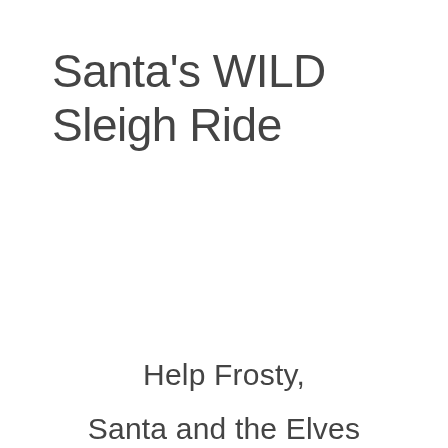Santa's WILD Sleigh Ride
Help Frosty,
Santa and the Elves